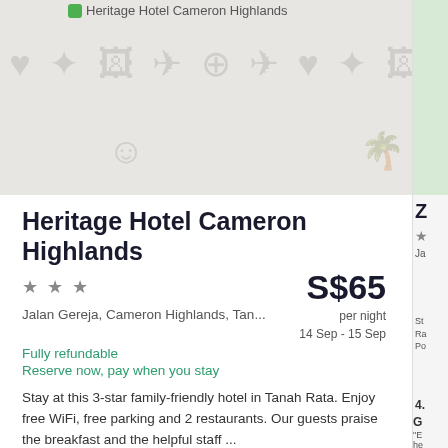[Figure (screenshot): Hotel listing image placeholder with travel icons pattern on light gray background, heart/favorite button overlay]
Heritage Hotel Cameron Highlands
★★★
S$65 per night
Jalan Gereja, Cameron Highlands, Tan...
14 Sep - 15 Sep
Fully refundable
Reserve now, pay when you stay
Stay at this 3-star family-friendly hotel in Tanah Rata. Enjoy free WiFi, free parking and 2 restaurants. Our guests praise the breakfast and the helpful staff ...
3.9/5 Very good! (535 reviews)
Comfortable, spacious hotel
"Like the comfortable and big, spacious room with good view of the mountains. The stay would be better if the Wi-Fi is faster and don't need constant login."